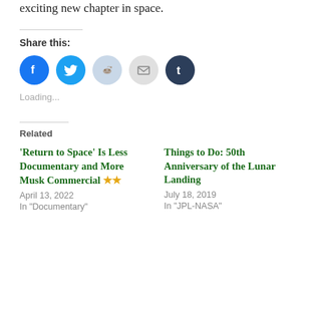exciting new chapter in space.
Share this:
[Figure (infographic): Row of five social share icon circles: Facebook (blue), Twitter (light blue), Reddit (light blue-grey), Email (light grey with envelope), Tumblr (dark navy with t)]
Loading...
Related
'Return to Space' Is Less Documentary and More Musk Commercial ★★
April 13, 2022
In "Documentary"
Things to Do: 50th Anniversary of the Lunar Landing
July 18, 2019
In "JPL-NASA"